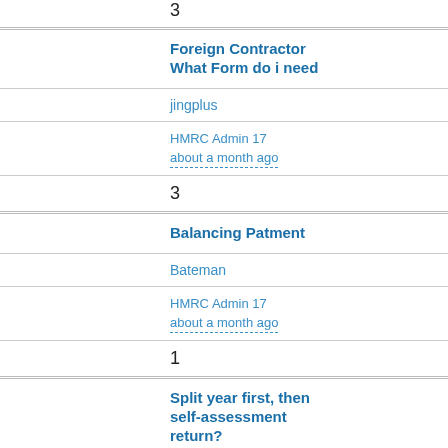3
Foreign Contractor What Form do i need
jingplus
HMRC Admin 17
about a month ago
3
Balancing Patment
Bateman
HMRC Admin 17
about a month ago
1
Split year first, then self-assessment return?